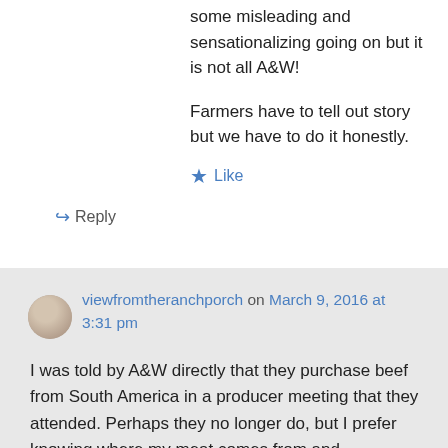some misleading and sensationalizing going on but it is not all A&W!
Farmers have to tell out story but we have to do it honestly.
★ Like
↪ Reply
viewfromtheranchporch on March 9, 2016 at 3:31 pm
I was told by A&W directly that they purchase beef from South America in a producer meeting that they attended. Perhaps they no longer do, but I prefer knowing where my meat comes from and